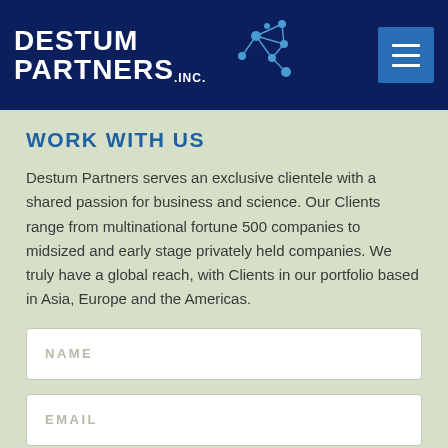[Figure (logo): Destum Partners Inc. logo with network graph icon on dark navy background header with hamburger menu button]
WORK WITH US
Destum Partners serves an exclusive clientele with a shared passion for business and science. Our Clients range from multinational fortune 500 companies to midsized and early stage privately held companies. We truly have a global reach, with Clients in our portfolio based in Asia, Europe and the Americas.
NAME
EMAIL